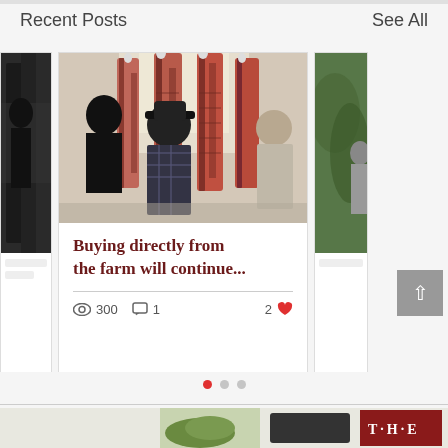Recent Posts
See All
[Figure (photo): Photo of people examining hanging meat carcasses in a processing facility. Several people including someone in a plaid shirt and black hat are inspecting large cuts of beef hanging from hooks in a bright room.]
Buying directly from the farm will continue...
300  1  2
[Figure (photo): Partial view of bottom preview images including what appears to be food items and a logo with letters T-H-E]